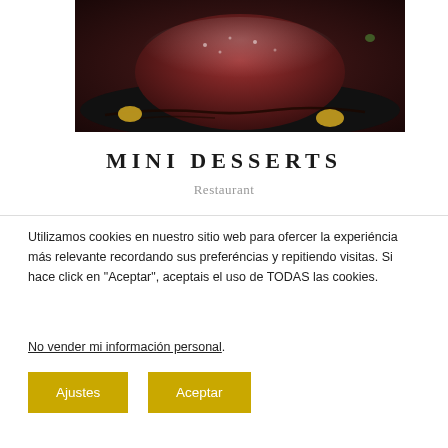[Figure (photo): Close-up food photo of a red velvet or chocolate cake dessert with powdered sugar on top, dark sauce drizzle, and yellow sauce dots on a dark plate background.]
MINI DESSERTS
Restaurant
Utilizamos cookies en nuestro sitio web para ofercer la experiéncia más relevante recordando sus preferéncias y repitiendo visitas. Si hace click en "Aceptar", aceptais el uso de TODAS las cookies.
No vender mi información personal.
Ajustes
Aceptar